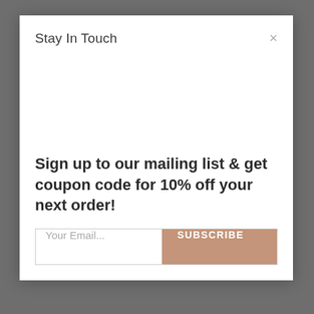Stay In Touch
Sign up to our mailing list & get coupon code for 10% off your next order!
Your Email...
SUBSCRIBE